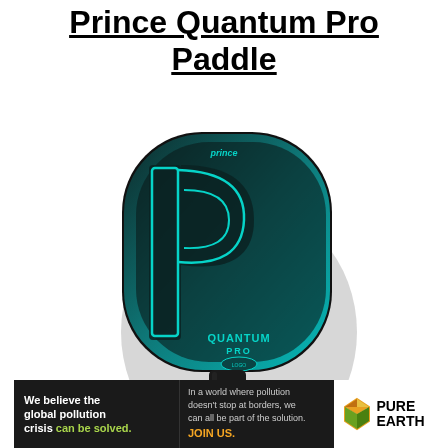Prince Quantum Pro Paddle
[Figure (photo): Prince Quantum Pro pickleball paddle with teal and black design, featuring a large 'p' logo and 'QUANTUM PRO' text on the face, with a black handle]
We believe the global pollution crisis can be solved. In a world where pollution doesn't stop at borders, we can all be part of the solution. JOIN US. PURE EARTH